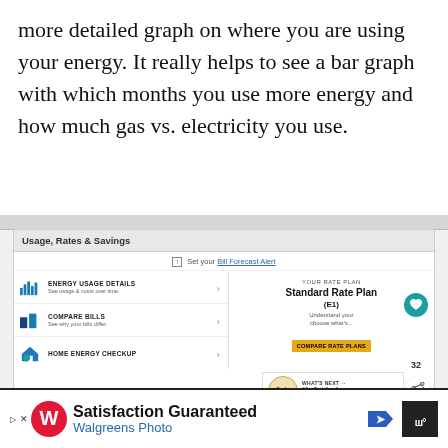more detailed graph on where you are using your energy. It really helps to see a bar graph with which months you use more energy and how much gas vs. electricity you use.
[Figure (screenshot): Screenshot of a utility app showing 'Usage, Rates & Savings' with sections for Energy Usage Details, Compare Bills, Home Energy Checkup, and Your Rate Plan (Standard Rate Plan E1). Overlaid with social sharing buttons, a 'What's Next' recommendation widget, and a Walgreens Photo advertisement at the bottom.]